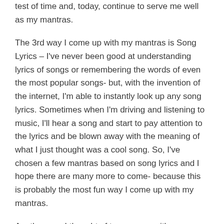test of time and, today, continue to serve me well as my mantras.
The 3rd way I come up with my mantras is Song Lyrics – I've never been good at understanding lyrics of songs or remembering the words of even the most popular songs- but, with the invention of the internet, I'm able to instantly look up any song lyrics. Sometimes when I'm driving and listening to music, I'll hear a song and start to pay attention to the lyrics and be blown away with the meaning of what I just thought was a cool song. So, I've chosen a few mantras based on song lyrics and I hope there are many more to come- because this is probably the most fun way I come up with my mantras.
Another way I thought of to come up with my mantras is based on abbreviated thoughts from models. I described self-coaching and doing Thought Downloads and Models in previous posts- so if you